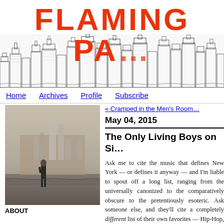FLAMING PA…
[Figure (illustration): City skyline illustration in black and white ink drawing style]
Home   Archives   Profile   Subscribe
« Cramped in the Men's Room…
May 04, 2015
The Only Living Boys on Si…
[Figure (photo): Black and white sepia photo of a man standing in front of the New York City skyline with Twin Towers visible]
ABOUT
Ask me to cite the music that defines New York — or defines it anyway — and I'm liable to spout off a long list, ranging from the universally canonized to the comparatively obscure to the pretentiously esoteric. Ask someone else, and they'll cite a completely different list of their own favorites — Hip-Hop, Jazz, or maybe Disco. There is certainly no sh…